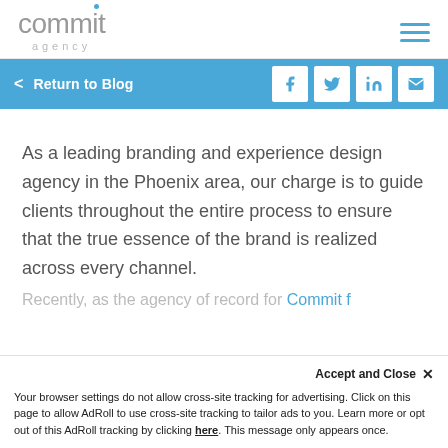commit agency
[Figure (logo): Commit Agency logo with blue dot over letter i and 'agency' subtitle]
< Return to Blog
As a leading branding and experience design agency in the Phoenix area, our charge is to guide clients throughout the entire process to ensure that the true essence of the brand is realized across every channel.
Recently, as the agency of record for Commit f...
Accept and Close ×
Your browser settings do not allow cross-site tracking for advertising. Click on this page to allow AdRoll to use cross-site tracking to tailor ads to you. Learn more or opt out of this AdRoll tracking by clicking here. This message only appears once.